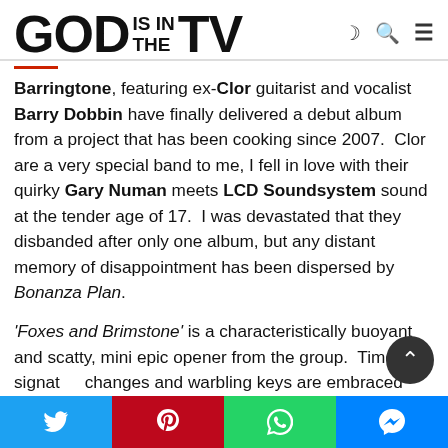GOD IS IN THE TV
Barringtone, featuring ex-Clor guitarist and vocalist Barry Dobbin have finally delivered a debut album from a project that has been cooking since 2007. Clor are a very special band to me, I fell in love with their quirky Gary Numan meets LCD Soundsystem sound at the tender age of 17. I was devastated that they disbanded after only one album, but any distant memory of disappointment has been dispersed by Bonanza Plan.
'Foxes and Brimstone' is a characteristically buoyant and scatty, mini epic opener from the group. Time signature changes and warbling keys are embraced with total
Social share buttons: Twitter, Pinterest, WhatsApp, Messenger